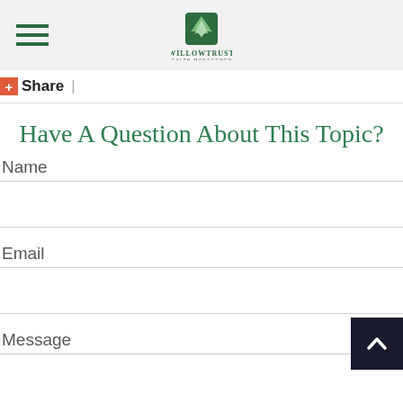WillowTrust Wealth Management
+Share |
Have A Question About This Topic?
Name
Email
Message